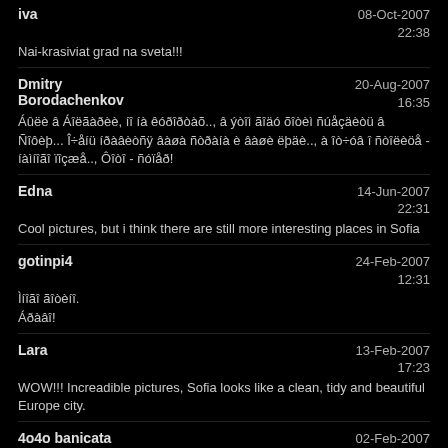iva | 08-Oct-2007 22:38 | Nai-krasiviat grad na sveta!!!
Dmitry Borodachenkov | 20-Aug-2007 16:35 | Áûëè â Áîëãàðèè, íî íà êóðîðòàõ.., â ýòîì ãîäó õîòèì ñúåçäèòü â Ñîôèþ... Î÷åíü íðàâèòñÿ âàøà ñòðàíà è âàøè ëþäè.., à îò÷óâ î ñòîëèöå - íàìíîãî ïîçæå.., Ôîòî - ñóïåð!
Edna | 14-Jun-2007 22:31 | Cool pictures, but i think there are still more interesting places in Sofia
gotinpi4 | 24-Feb-2007 12:31 | Ìíîãî ãîòèíî. Áðàâî!
Lara | 13-Feb-2007 17:23 | WOW!!! Increadible pictures, Sofia looks like a clean, tidy and beautiful Europe city.
4o4o banicata | 02-Feb-2007 18:29 | qko mn dobre
estet | 31-Jan-2007 21:56